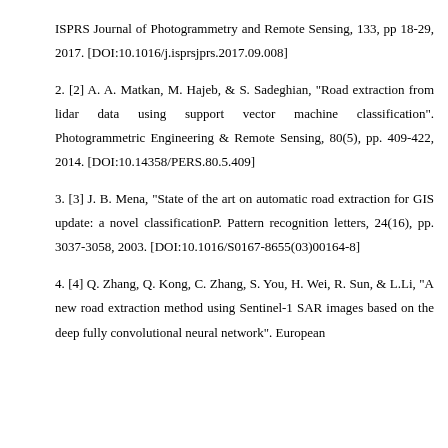ISPRS Journal of Photogrammetry and Remote Sensing, 133, pp 18-29, 2017. [DOI:10.1016/j.isprsjprs.2017.09.008]
2. [2] A. A. Matkan, M. Hajeb, & S. Sadeghian, "Road extraction from lidar data using support vector machine classification". Photogrammetric Engineering & Remote Sensing, 80(5), pp. 409-422, 2014. [DOI:10.14358/PERS.80.5.409]
3. [3] J. B. Mena, "State of the art on automatic road extraction for GIS update: a novel classificationP. Pattern recognition letters, 24(16), pp. 3037-3058, 2003. [DOI:10.1016/S0167-8655(03)00164-8]
4. [4] Q. Zhang, Q. Kong, C. Zhang, S. You, H. Wei, R. Sun, & L.Li, "A new road extraction method using Sentinel-1 SAR images based on the deep fully convolutional neural network". European